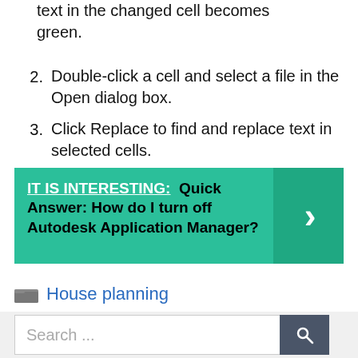text in the changed cell becomes green.
2. Double-click a cell and select a file in the Open dialog box.
3. Click Replace to find and replace text in selected cells.
[Figure (infographic): Teal/green banner with text: IT IS INTERESTING: Quick Answer: How do I turn off Autodesk Application Manager? with a right-arrow chevron on the right side.]
House planning
Search ...